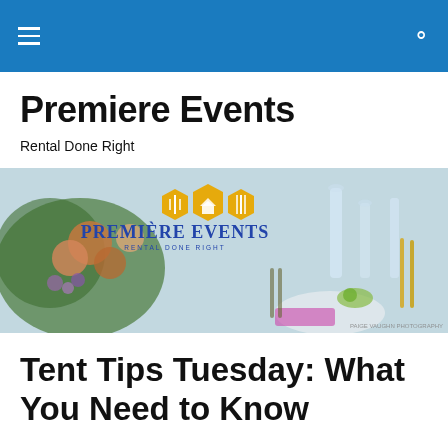Premiere Events
Rental Done Right
[Figure (photo): Premiere Events banner photo showing a floral table setting with the Premiere Events logo (gold and blue) overlaid in the center. Photo credit: Paige Vaughn Photography]
Tent Tips Tuesday: What You Need to Know
Whether you are thinking about a tent for your event rain or shine, or as a backup plan in case of inclement